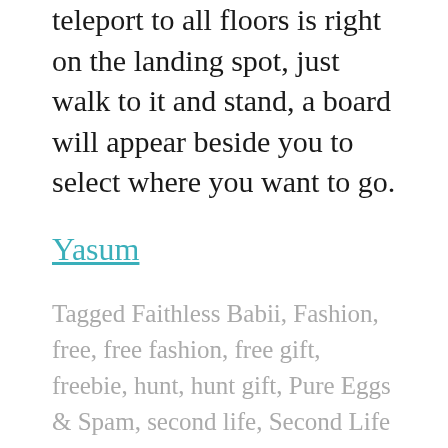teleport to all floors is right on the landing spot, just walk to it and stand, a board will appear beside you to select where you want to go.
Yasum
Tagged Faithless Babii, Fashion, free, free fashion, free gift, freebie, hunt, hunt gift, Pure Eggs & Spam, second life, Second Life fashion, SecondLife, secondlife hunt, yasum